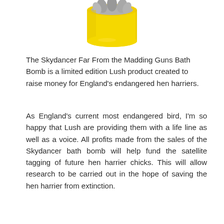[Figure (photo): Partial bottom view of a yellow bath bomb product (Skydancer Far From the Madding Guns Bath Bomb) with a grey/silver top portion, shown cropped at the top of the page.]
The Skydancer Far From the Madding Guns Bath Bomb is a limited edition Lush product created to raise money for England's endangered hen harriers.
As England's current most endangered bird, I'm so happy that Lush are providing them with a life line as well as a voice. All profits made from the sales of the Skydancer bath bomb will help fund the satellite tagging of future hen harrier chicks. This will allow research to be carried out in the hope of saving the hen harrier from extinction.